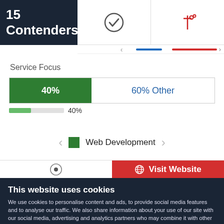15 Contenders
[Figure (infographic): Navigation header with checkmark icon and sliders/filter icon with red underline and blue underline indicators]
Service Focus
[Figure (stacked-bar-chart): Service Focus]
40%
Web Development
[Figure (infographic): Partially visible review/rating icon and Visit Website button in red]
This website uses cookies
We use cookies to personalise content and ads, to provide social media features and to analyse our traffic. We also share information about your use of our site with our social media, advertising and analytics partners who may combine it with other information that you've provided to them or that they've collected from your use of their services. You agree to our cookies if you continue to use our website.
Close
Show details